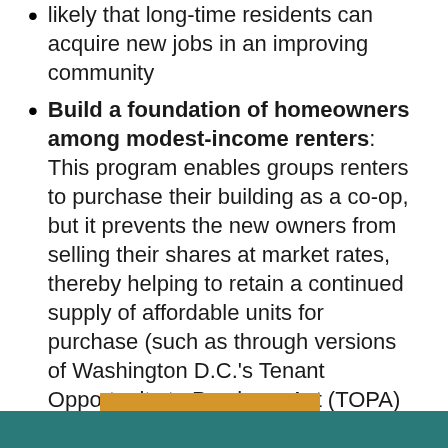likely that long-time residents can acquire new jobs in an improving community
Build a foundation of homeowners among modest-income renters: This program enables groups renters to purchase their building as a co-op, but it prevents the new owners from selling their shares at market rates, thereby helping to retain a continued supply of affordable units for purchase (such as through versions of Washington D.C.'s Tenant Opportunity to Purchase Act (TOPA) program.)
Return to all All News